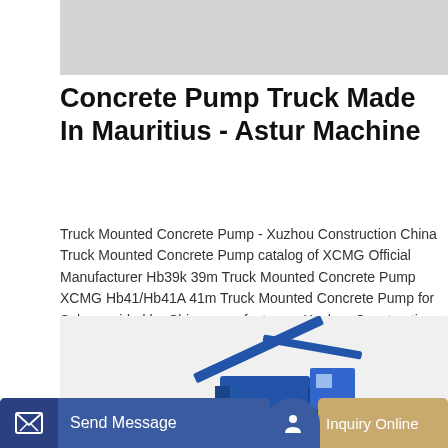[Figure (photo): Top partial image showing grey textured surface (concrete or machinery background)]
Concrete Pump Truck Made In Mauritius - Astur Machine
Truck Mounted Concrete Pump - Xuzhou Construction China Truck Mounted Concrete Pump catalog of XCMG Official Manufacturer Hb39k 39m Truck Mounted Concrete Pump XCMG Hb41/Hb41A 41m Truck Mounted Concrete Pump for Sale provided by China manufacturer - Xuzhou Construction Machinery Group Co. Ltd. page1. Get Price
[Figure (photo): Partial image of a concrete pump truck (blue machinery) on a light grey background]
Send Message | Inquiry Online